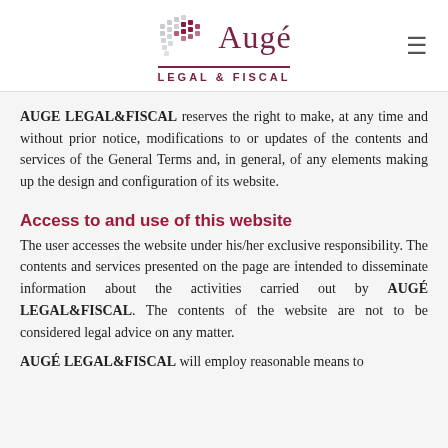[Figure (logo): Augé Legal & Fiscal logo with globe graphic, company name in maroon serif font, tagline LEGAL & FISCAL in small caps below a horizontal rule]
AUGE LEGAL&FISCAL reserves the right to make, at any time and without prior notice, modifications to or updates of the contents and services of the General Terms and, in general, of any elements making up the design and configuration of its website.
Access to and use of this website
The user accesses the website under his/her exclusive responsibility. The contents and services presented on the page are intended to disseminate information about the activities carried out by AUGÉ LEGAL&FISCAL. The contents of the website are not to be considered legal advice on any matter.
AUGÉ LEGAL&FISCAL will employ reasonable means to